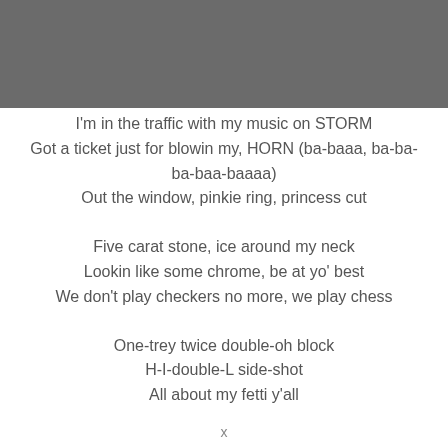I'm in the traffic with my music on STORM
Got a ticket just for blowin my, HORN (ba-baaa, ba-ba-ba-baa-baaaa)
Out the window, pinkie ring, princess cut
Five carat stone, ice around my neck
Lookin like some chrome, be at yo' best
We don't play checkers no more, we play chess
One-trey twice double-oh block
H-I-double-L side-shot
All about my fetti y'all
x